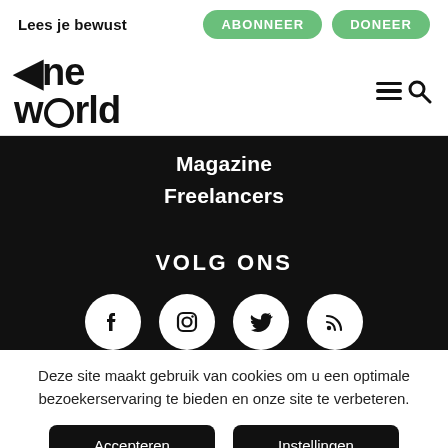Lees je bewust
ABONNEER
DONEER
[Figure (logo): One World logo — stylized text reading 'one world' with 'd' shaped like a globe]
[Figure (other): Hamburger menu icon combined with search/magnifier icon]
Magazine
Freelancers
VOLG ONS
[Figure (other): Social media icons row: Facebook, Instagram, Twitter, RSS — white circles on black background]
Deze site maakt gebruik van cookies om u een optimale bezoekerservaring te bieden en onze site te verbeteren.
Accepteren
Instellingen